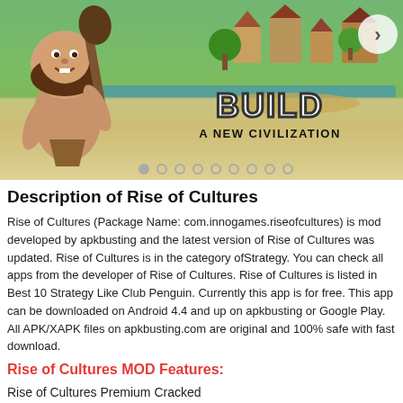[Figure (screenshot): Game screenshot for Rise of Cultures showing a caveman character on the left with a club, a village/city building game scene in the background, and text 'BUILD A NEW CIVILIZATION' on the right. Navigation arrow button visible top right. Carousel dots along bottom.]
Description of Rise of Cultures
Rise of Cultures (Package Name: com.innogames.riseofcultures) is mod developed by apkbusting and the latest version of Rise of Cultures was updated. Rise of Cultures is in the category ofStrategy. You can check all apps from the developer of Rise of Cultures. Rise of Cultures is listed in Best 10 Strategy Like Club Penguin. Currently this app is for free. This app can be downloaded on Android 4.4 and up on apkbusting or Google Play. All APK/XAPK files on apkbusting.com are original and 100% safe with fast download.
Rise of Cultures MOD Features:
Rise of Cultures Premium Cracked